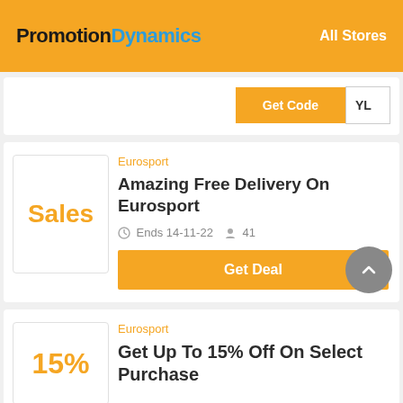PromotionDynamics — All Stores
Get Code YL
Eurosport
Amazing Free Delivery On Eurosport
Ends 14-11-22  41
Get Deal
Eurosport
Get Up To 15% Off On Select Purchase